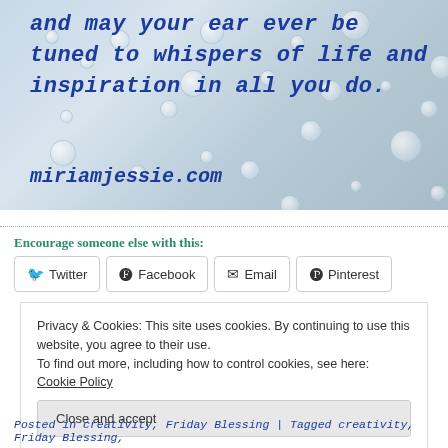[Figure (illustration): Image with water droplets background and blue handwritten-style text reading 'and may your ear ever be tuned to whispers of life and inspiration in all you do.' with 'miriamjessie.com' below]
Encourage someone else with this:
Twitter | Facebook | Email | Pinterest (share buttons)
Privacy & Cookies: This site uses cookies. By continuing to use this website, you agree to their use. To find out more, including how to control cookies, see here: Cookie Policy
Close and accept
Posted in creativity, Friday Blessing | Tagged creativity, Friday Blessing,